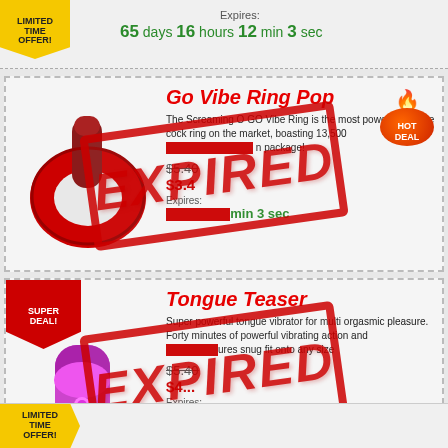Expires:
65 days 16 hours 12 min 3 sec
Go Vibe Ring Pop
The Screaming O GO Vibe Ring is the most powerful quickie cock ring on the market, boasting 13,500 [rpm] in package!
$5.40 (strikethrough) $3.4 Expires: 56 days 10... min 3 sec
[Figure (other): EXPIRED red stamp overlay on product]
[Figure (other): Hot Deal badge - flame icon with orange circle]
Tongue Teaser
Super powerful tongue vibrator for multi orgasmic pleasure. Forty minutes of powerful vibrating action and ... ures snug fit onto any size
$5.40 (strikethrough) $4... Expires: 56 days 10... min 3 sec
[Figure (other): EXPIRED red stamp overlay on tongue teaser product]
LIMITED TIME OFFER!